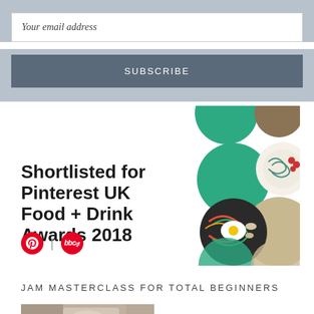Your email address
SUBSCRIBE
[Figure (illustration): Pinterest UK Food + Drink Awards 2018 promotional image with colorful circular food illustrations on white background. Text reads: Shortlisted for Pinterest UK Food + Drink Awards 2018. Pinterest and BBC Good Food logos at bottom left.]
JAM MASTERCLASS FOR TOTAL BEGINNERS
[Figure (photo): Partial photo of jam or food preparation, cropped at bottom of page]